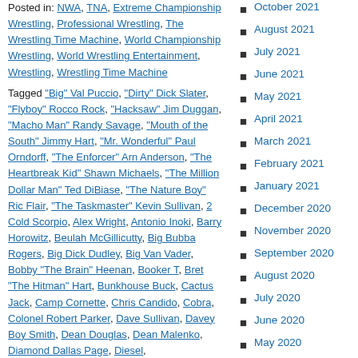Posted in: NWA, TNA, Extreme Championship Wrestling, Professional Wrestling, The Wrestling Time Machine, World Championship Wrestling, World Wrestling Entertainment, Wrestling, Wrestling Time Machine
Tagged "Big" Val Puccio, "Dirty" Dick Slater, "Flyboy" Rocco Rock, "Hacksaw" Jim Duggan, "Macho Man" Randy Savage, "Mouth of the South" Jimmy Hart, "Mr. Wonderful" Paul Orndorff, "The Enforcer" Arn Anderson, "The Heartbreak Kid" Shawn Michaels, "The Million Dollar Man" Ted DiBiase, "The Nature Boy" Ric Flair, "The Taskmaster" Kevin Sullivan, 2 Cold Scorpio, Alex Wright, Antonio Inoki, Barry Horowitz, Beulah McGillicutty, Big Bubba Rogers, Big Dick Dudley, Big Van Vader, Bobby "The Brain" Heenan, Booker T, Bret "The Hitman" Hart, Bunkhouse Buck, Cactus Jack, Camp Cornette, Chris Candido, Cobra, Colonel Robert Parker, Dave Sullivan, Davey Boy Smith, Dean Douglas, Dean Malenko, Diamond Dallas Page, Diesel,
October 2021
August 2021
July 2021
June 2021
May 2021
April 2021
March 2021
February 2021
January 2021
December 2020
November 2020
September 2020
August 2020
July 2020
June 2020
May 2020
April 2020
March 2020